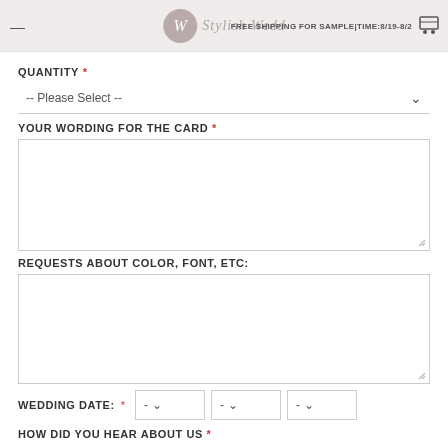FREE SHIPPING FOR SAMPLE|TIME:8/19-8/2
QUANTITY *
-- Please Select --
YOUR WORDING FOR THE CARD *
REQUESTS ABOUT COLOR, FONT, ETC:
WEDDING DATE: *
HOW DID YOU HEAR ABOUT US *